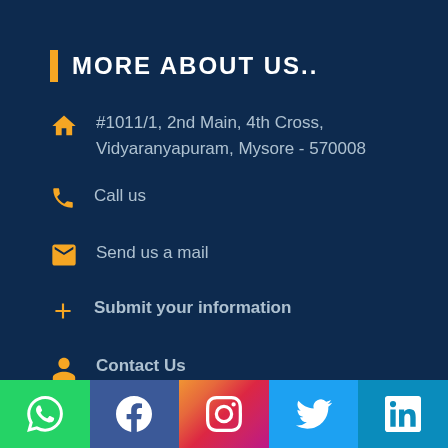MORE ABOUT US..
#1011/1, 2nd Main, 4th Cross, Vidyaranyapuram, Mysore - 570008
Call us
Send us a mail
Submit your information
Contact Us
[Figure (infographic): Social media bar with icons for WhatsApp, Facebook, Instagram, Twitter, LinkedIn]